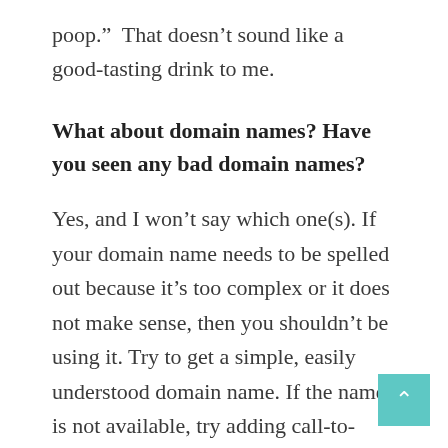poop.”  That doesn’t sound like a good-tasting drink to me.
What about domain names? Have you seen any bad domain names?
Yes, and I won’t say which one(s). If your domain name needs to be spelled out because it’s too complex or it does not make sense, then you shouldn’t be using it. Try to get a simple, easily understood domain name. If the name is not available, try adding call-to-actions (that make